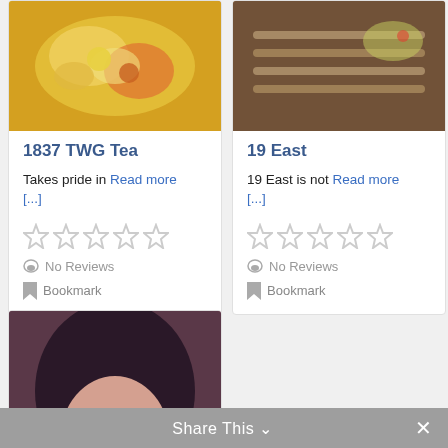[Figure (photo): Food dish photo - eggs benedict or similar yellow/orange dish]
1837 TWG Tea
Takes pride in Read more [...]
[Figure (other): 5 empty/grey star rating icons]
No Reviews
Bookmark
[Figure (photo): Food photo - grilled fish or meat with garnish]
19 East
19 East is not Read more [...]
[Figure (other): 5 empty/grey star rating icons]
No Reviews
Bookmark
[Figure (photo): Beauty/fashion photo of a woman with dark nails and earrings]
360° Fitness Club Makati
Share This ∨